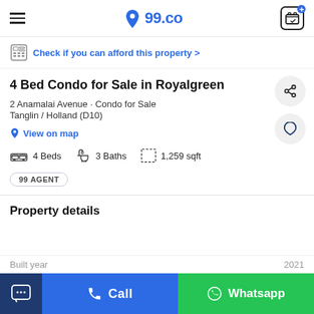99.co
Check if you can afford this property >
4 Bed Condo for Sale in Royalgreen
2 Anamalai Avenue · Condo for Sale
Tanglin / Holland (D10)
View on map
4 Beds
3 Baths
1,259 sqft
99 AGENT
Property details
Built year 2021